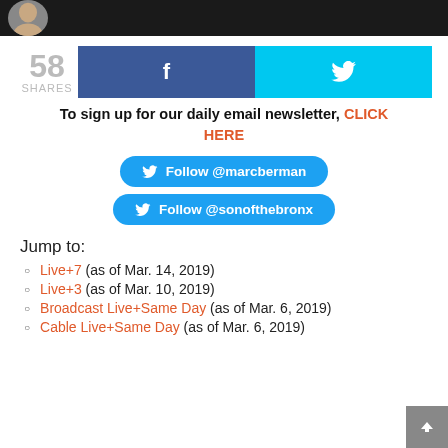[dark header bar with avatar image]
58 SHARES [Facebook share button] [Twitter share button]
To sign up for our daily email newsletter, CLICK HERE
Follow @marcberman
Follow @sonofthebronx
Jump to:
Live+7 (as of Mar. 14, 2019)
Live+3 (as of Mar. 10, 2019)
Broadcast Live+Same Day (as of Mar. 6, 2019)
Cable Live+Same Day (as of Mar. 6, 2019)